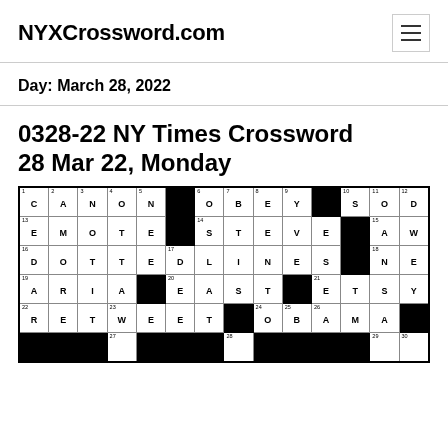NYXCrossword.com
Day: March 28, 2022
0328-22 NY Times Crossword 28 Mar 22, Monday
[Figure (other): Crossword puzzle grid for NY Times March 28 2022 showing filled answers including CANON, OBEY, SOD, EMOTE, STEVE, AWE, DOTTEDLINES, NEW, ARIA, EAST, ETSY, RETWEET, OBAMA and more]